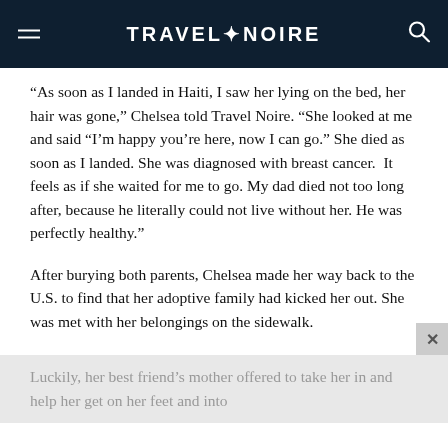TRAVEL+NOIRE
“As soon as I landed in Haiti, I saw her lying on the bed, her hair was gone,” Chelsea told Travel Noire. “She looked at me and said “I’m happy you’re here, now I can go.” She died as soon as I landed. She was diagnosed with breast cancer.  It feels as if she waited for me to go. My dad died not too long after, because he literally could not live without her. He was perfectly healthy.”
After burying both parents, Chelsea made her way back to the U.S. to find that her adoptive family had kicked her out. She was met with her belongings on the sidewalk.
Luckily, her best friend’s mother offered to take her in and help her get on her feet and into